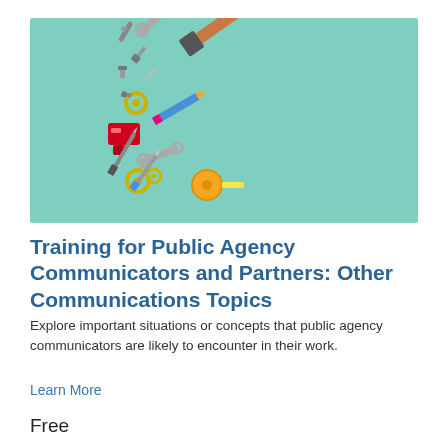[Figure (illustration): Teal/mint green background rectangle with scattered colorful tools and supplies: hammer, wrench, screws, bolts, pliers, pencil, red tool, gear wheels, tape measure, screwdrivers — arranged in the left-center area of the image.]
Training for Public Agency Communicators and Partners: Other Communications Topics
Explore important situations or concepts that public agency communicators are likely to encounter in their work.
Learn More
Free